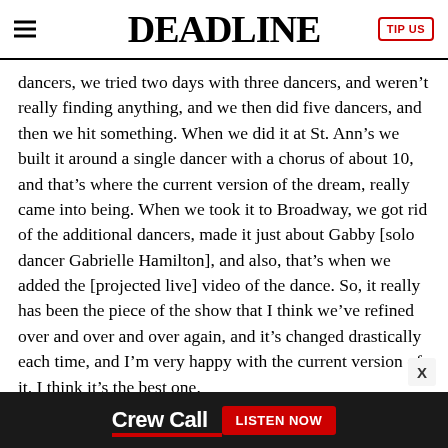DEADLINE
dancers, we tried two days with three dancers, and weren’t really finding anything, and we then did five dancers, and then we hit something. When we did it at St. Ann’s we built it around a single dancer with a chorus of about 10, and that’s where the current version of the dream, really came into being. When we took it to Broadway, we got rid of the additional dancers, made it just about Gabby [solo dancer Gabrielle Hamilton], and also, that’s when we added the [projected live] video of the dance. So, it really has been the piece of the show that I think we’ve refined over and over and over again, and it’s changed drastically each time, and I’m very happy with the current version of it. I think it’s the best one.
Deadline: Has the music for the Dream Ballet changed much?
[Figure (other): Advertisement banner for Crew Call podcast with text 'Crew Call' and 'LISTEN NOW' button]